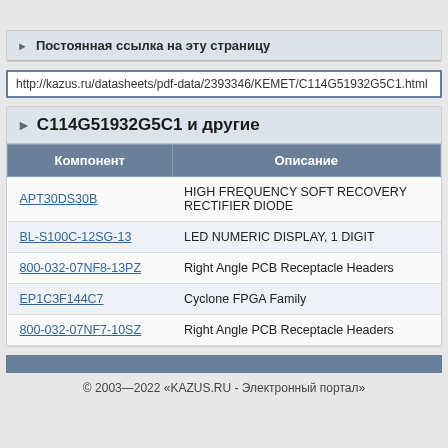Постоянная ссылка на эту страницу
http://kazus.ru/datasheets/pdf-data/2393346/KEMET/C114G51932G5C1.html
C114G51932G5C1 и другие
| Компонент | Описание |
| --- | --- |
| APT30DS30B | HIGH FREQUENCY SOFT RECOVERY RECTIFIER DIODE |
| BL-S100C-12SG-13 | LED NUMERIC DISPLAY, 1 DIGIT |
| 800-032-07NF8-13PZ | Right Angle PCB Receptacle Headers |
| EP1C3F144C7 | Cyclone FPGA Family |
| 800-032-07NF7-10SZ | Right Angle PCB Receptacle Headers |
© 2003—2022 «KAZUS.RU - Электронный портал»